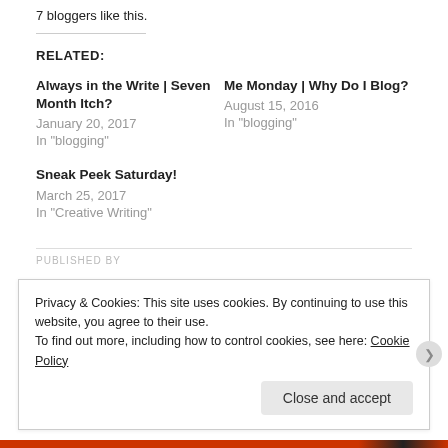7 bloggers like this.
RELATED:
Always in the Write | Seven Month Itch?
January 20, 2017
In "blogging"
Me Monday | Why Do I Blog?
August 15, 2016
In "blogging"
Sneak Peek Saturday!
March 25, 2017
In "Creative Writing"
PUBLISHED BY
Privacy & Cookies: This site uses cookies. By continuing to use this website, you agree to their use.
To find out more, including how to control cookies, see here: Cookie Policy
Close and accept